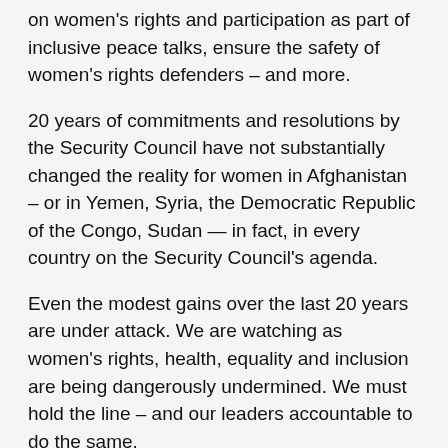on women's rights and participation as part of inclusive peace talks, ensure the safety of women's rights defenders – and more.
20 years of commitments and resolutions by the Security Council have not substantially changed the reality for women in Afghanistan – or in Yemen, Syria, the Democratic Republic of the Congo, Sudan — in fact, in every country on the Security Council's agenda.
Even the modest gains over the last 20 years are under attack. We are watching as women's rights, health, equality and inclusion are being dangerously undermined. We must hold the line – and our leaders accountable to do the same.
Just last week, civil society and defenders of women's rights were able to avert an unnecessary and potentially dangerous Security Council resolution led by Russia